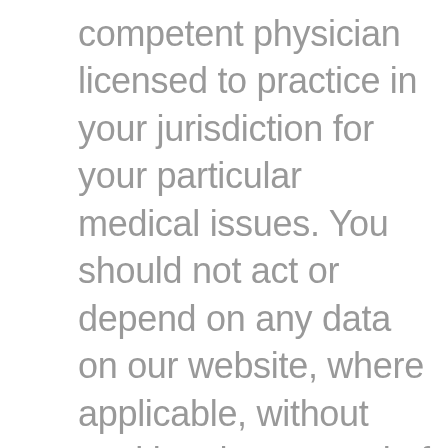counsel of a competent physician licensed to practice in your jurisdiction for your particular medical issues. You should not act or depend on any data on our website, where applicable, without seeking the counsel of a competent financial advisor licensed to practice in your jurisdiction for your particular financial needs and issues.